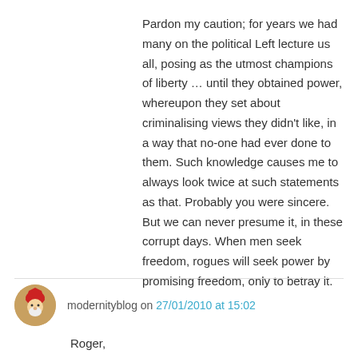Pardon my caution; for years we had many on the political Left lecture us all, posing as the utmost champions of liberty … until they obtained power, whereupon they set about criminalising views they didn't like, in a way that no-one had ever done to them. Such knowledge causes me to always look twice at such statements as that. Probably you were sincere. But we can never presume it, in these corrupt days. When men seek freedom, rogues will seek power by promising freedom, only to betray it.
modernityblog on 27/01/2010 at 15:02
Roger,